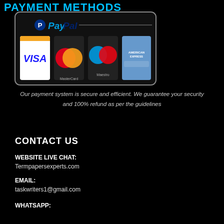PAYMENT METHODS
[Figure (illustration): PayPal logo and credit card logos (Visa, MasterCard, Maestro, American Express) inside a rounded rectangle border]
Our payment system is secure and efficient. We guarantee your security and 100% refund as per the guidelines
CONTACT US
WEBSITE LIVE CHAT:
Termpapersexperts.com
EMAIL:
taskwriters1@gmail.com
WHATSAPP: